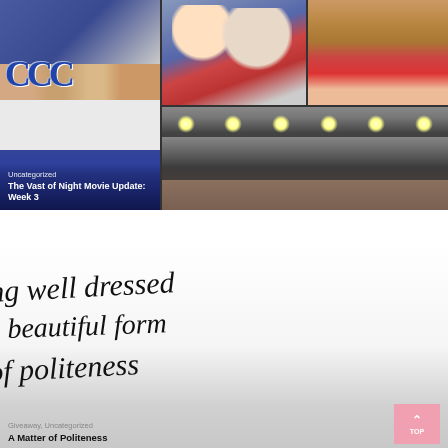[Figure (photo): Blog post card image showing a collage of basketball/sports photos: left side shows cheerleaders in blue and white uniforms with 'C' letters, top right shows two people smiling at a game, middle right shows basketball players lined up, bottom right shows a smoky arena with bright lights]
Uncategorized
The Vast of Night Movie Update: Week 3
[Figure (photo): Blog post card image showing a quote in cursive/script handwriting text on a light gray background: 'being well dressed is a beautiful form of politeness', with a pink/rose colored background fading in at the bottom]
Giveaway, Uncategorized
A Matter of Politeness